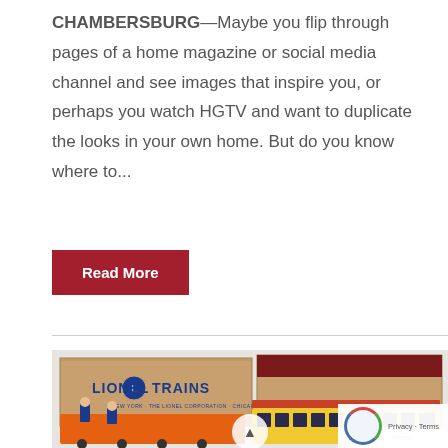CHAMBERSBURG—Maybe you flip through pages of a home magazine or social media channel and see images that inspire you, or perhaps you watch HGTV and want to duplicate the looks in your own home. But do you know where to...
Read More
[Figure (photo): Photo of Lionel Trains boxes and toy trains including an orange construction vehicle with blue figures and a yellow/red trolley car]